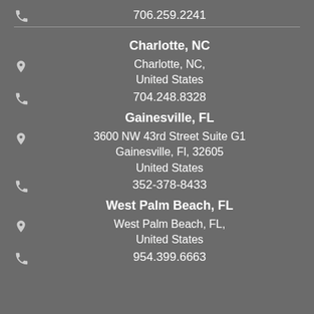706.259.2241
Charlotte, NC
Charlotte, NC, United States
704.248.8328
Gainesville, FL
3600 NW 43rd Street Suite G1 Gainesville, Fl, 32605 United States
352-378-8433
West Palm Beach, FL
West Palm Beach, FL, United States
954.399.6663